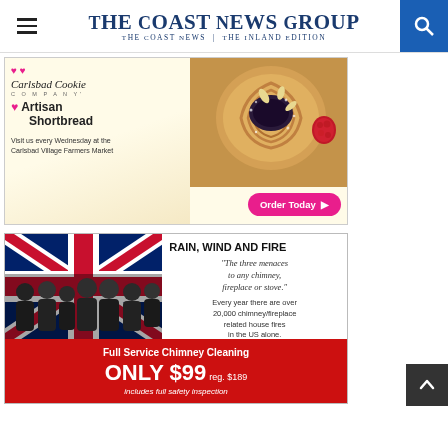The Coast News Group — The Coast News | The Inland Edition
[Figure (advertisement): Carlsbad Cookie Company advertisement featuring an artisan shortbread pastry photo, text 'Artisan Shortbread', 'Visit us every Wednesday at the Carlsbad Village Farmers Market', and a pink 'Order Today' button.]
[Figure (advertisement): Chimney cleaning advertisement. Top half shows a team photo with a British flag background and text: 'RAIN, WIND AND FIRE', quote 'The three menaces to any chimney, fireplace or stove.', 'Every year there are over 20,000 chimney/fireplace related house fires in the US alone.' Bottom red section: 'Full Service Chimney Cleaning ONLY $99 reg. $189 includes full safety inspection'.]